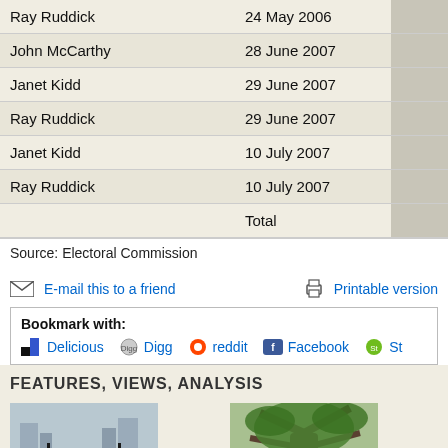| Name | Date | Amount |
| --- | --- | --- |
| Ray Ruddick | 24 May 2006 |  |
| John McCarthy | 28 June 2007 |  |
| Janet Kidd | 29 June 2007 |  |
| Ray Ruddick | 29 June 2007 |  |
| Janet Kidd | 10 July 2007 |  |
| Ray Ruddick | 10 July 2007 |  |
|  | Total |  |
Source: Electoral Commission
E-mail this to a friend
Printable version
Bookmark with: Delicious Digg reddit Facebook St
FEATURES, VIEWS, ANALYSIS
[Figure (photo): Ghost town - horses sculpture with city buildings in background]
Ghost town
Has China's housing bubble burst?
[Figure (photo): The guerilla plant - large old tree]
The guerilla plant
How the world's oldest clove tree defied an